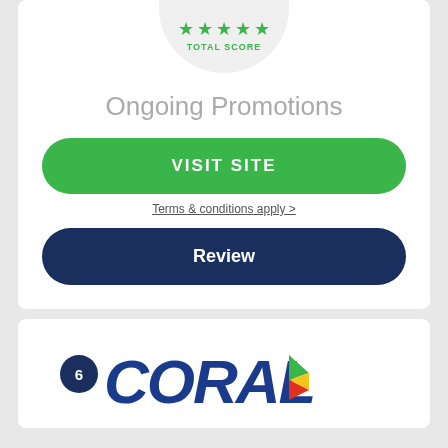[Figure (infographic): Five green stars rating and TOTAL SCORE label inside a rounded circle badge]
Ongoing Promotions
VISIT SITE
Terms & conditions apply >
Review
[Figure (logo): Coral betting brand logo with number 6 badge. Blue italic CORAL text with a multicolor flag/feather icon to the right.]